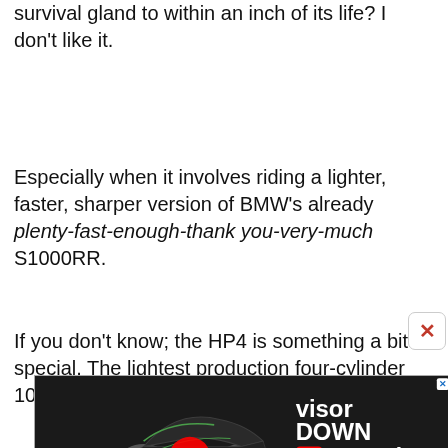Knowing you're about to beat your survival gland to within an inch of its life? I don't like it.
Especially when it involves riding a lighter, faster, sharper version of BMW's already plenty-fast-enough-thank you-very-much S1000RR.
If you don't know; the HP4 is something a bit special. The lightest production four-cylinder 1000cc superbike to date, it's dripping with
[Figure (screenshot): Advertisement banner showing a Kawasaki motorcycle with a YouTube play button overlay, Visordown YouTube channel branding, and a Privacy Manager button in the bottom-right corner. A close (X) button appears in the upper right.]